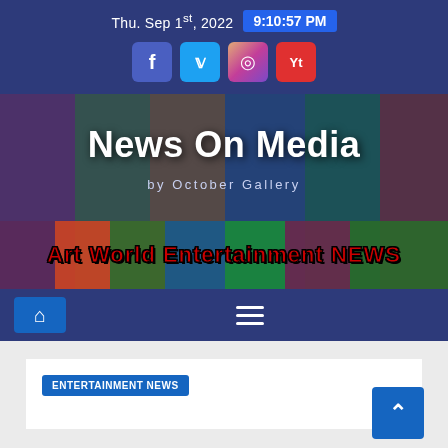Thu. Sep 1st, 2022  9:10:57 PM
[Figure (screenshot): Social media icons: Facebook (blue), Twitter (blue), Instagram (gradient), YouTube (red)]
News On Media
by October Gallery
[Figure (photo): Art World Entertainment NEWS banner with colorful collage of artwork and people images]
Art World Entertainment NEWS
[Figure (screenshot): Navigation bar with home icon button and hamburger menu icon on dark blue background]
ENTERTAINMENT NEWS